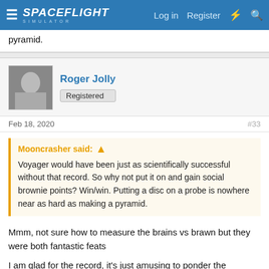SPACEFLIGHT SIMULATOR | Log in | Register
pyramid.
Roger Jolly
Registered
Feb 18, 2020
#33
Mooncrasher said: ↑
Voyager would have been just as scientifically successful without that record. So why not put it on and gain social brownie points? Win/win. Putting a disc on a probe is nowhere near as hard as making a pyramid.
Mmm, not sure how to measure the brains vs brawn but they were both fantastic feats
I am glad for the record, it's just amusing to ponder the parameters of its futility